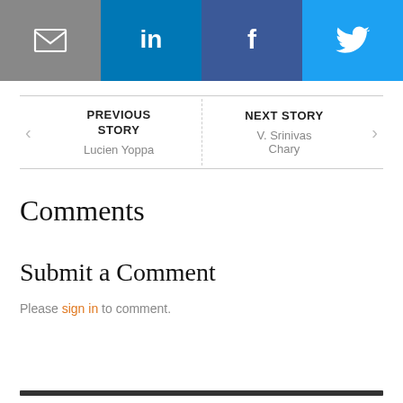[Figure (other): Social sharing bar with email, LinkedIn, Facebook, and Twitter buttons]
PREVIOUS STORY
Lucien Yoppa
NEXT STORY
V. Srinivas Chary
Comments
Submit a Comment
Please sign in to comment.